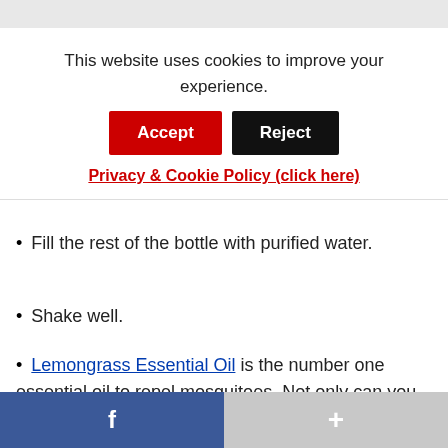Combine lemongrass essential oil, thyme
This website uses cookies to improve your experience.
Accept | Reject
Privacy & Cookie Policy (click here)
y
Fill the rest of the bottle with purified water.
Shake well.
Lemongrass Essential Oil is the number one essential oil to repel mosquitoes. Not only can you add it to this personal bug
f   +